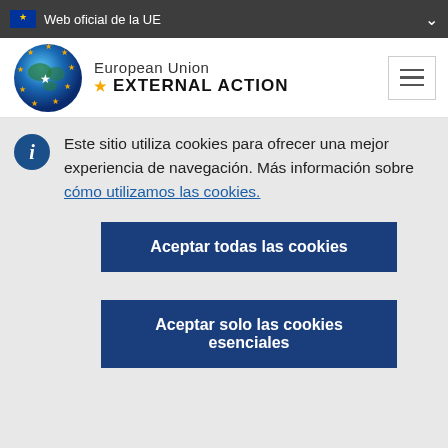Web oficial de la UE
[Figure (logo): European Union External Action logo with globe and stars]
Este sitio utiliza cookies para ofrecer una mejor experiencia de navegación. Más información sobre cómo utilizamos las cookies.
Aceptar todas las cookies
Aceptar solo las cookies esenciales